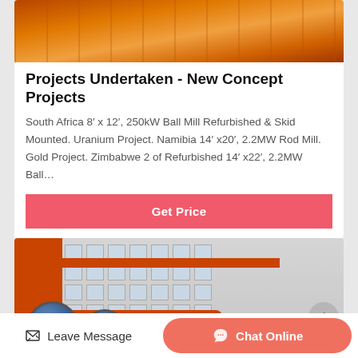[Figure (photo): Orange industrial ball mill or crusher machine equipment shown from above on metal floor]
Projects Undertaken - New Concept Projects
South Africa 8' x 12', 250kW Ball Mill Refurbished & Skid Mounted. Uranium Project. Namibia 14' x20', 2.2MW Rod Mill. Gold Project. Zimbabwe 2 of Refurbished 14' x22', 2.2MW Ball…
Get Price
[Figure (photo): Industrial ball mills and machinery in orange color at an outdoor factory facility with multi-storey building in background]